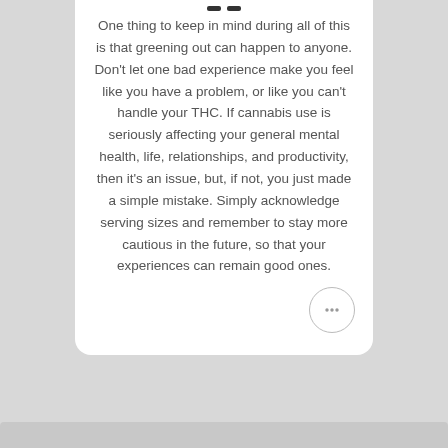One thing to keep in mind during all of this is that greening out can happen to anyone. Don't let one bad experience make you feel like you have a problem, or like you can't handle your THC. If cannabis use is seriously affecting your general mental health, life, relationships, and productivity, then it's an issue, but, if not, you just made a simple mistake. Simply acknowledge serving sizes and remember to stay more cautious in the future, so that your experiences can remain good ones.
[Figure (other): Chat button icon — circular button with three dots (ellipsis) indicating a messaging/chat action]